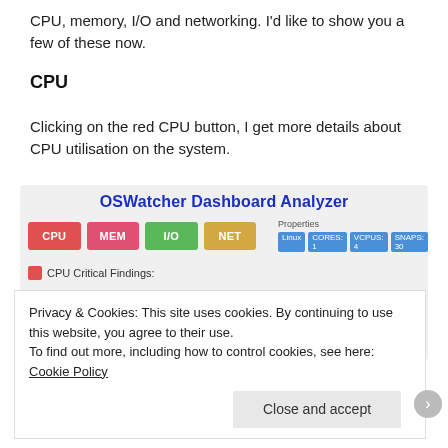CPU, memory, I/O and networking. I'd like to show you a few of these now.
CPU
Clicking on the red CPU button, I get more details about CPU utilisation on the system.
[Figure (screenshot): OSWatcher Dashboard Analyzer screenshot showing CPU, MEM, I/O, NET buttons and Properties panel with Linux, CORES:1, VCPUS:4, SNAPS:30 tags, and a CPU Critical Findings section.]
Privacy & Cookies: This site uses cookies. By continuing to use this website, you agree to their use.
To find out more, including how to control cookies, see here: Cookie Policy
Close and accept